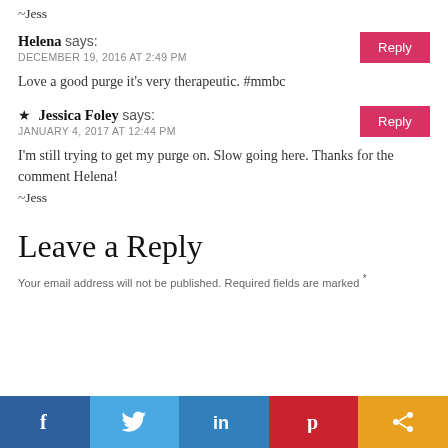~Jess
Helena says:
DECEMBER 19, 2016 AT 2:49 PM
Love a good purge it's very therapeutic. #mmbc
★ Jessica Foley says:
JANUARY 4, 2017 AT 12:44 PM
I'm still trying to get my purge on. Slow going here. Thanks for the comment Helena!
~Jess
Leave a Reply
Your email address will not be published. Required fields are marked *